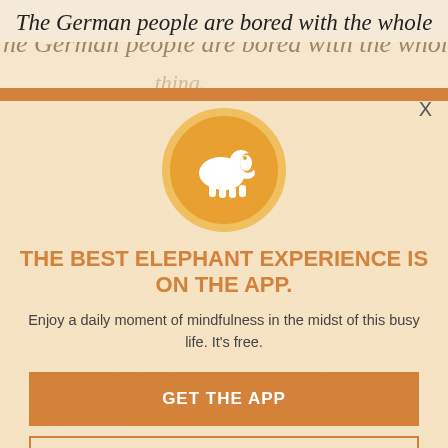The German people are bored with the whole thing.
[Figure (logo): White elephant silhouette on orange/gold circular badge with thick golden border]
THE BEST ELEPHANT EXPERIENCE IS ON THE APP.
Enjoy a daily moment of mindfulness in the midst of this busy life. It's free.
GET THE APP
OPEN IN APP